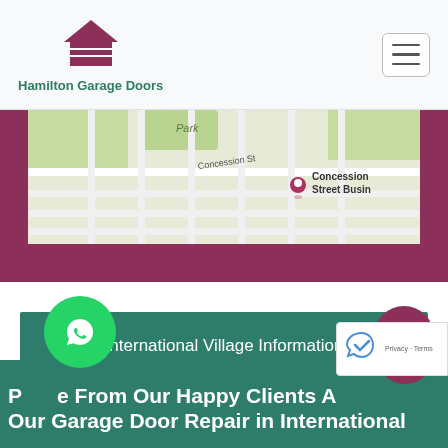Hamilton Garage Doors
[Figure (map): Google Maps screenshot showing Concession Street Business area with street grid and location pin]
International Village Information
[Figure (infographic): Footer section with WhatsApp button, scroll-to-top button, reCAPTCHA badge, and partial text reading 'Peace From Our Happy Clients About Our Garage Door Repair in International']